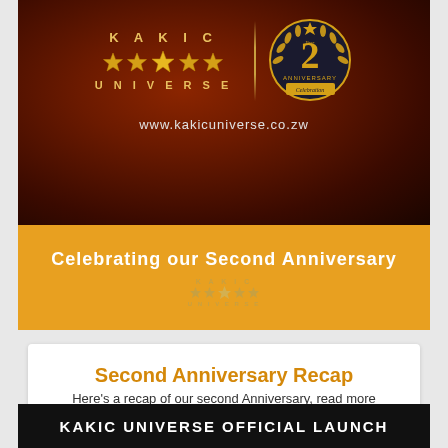[Figure (logo): Kakic Universe 2nd Anniversary logo on dark reddish-brown background with stars and anniversary badge, website www.kakicuniverse.co.zw]
Celebrating our Second Anniversary
Second Anniversary Recap
Here's a recap of our second Anniversary, read more
KAKIC UNIVERSE OFFICIAL LAUNCH